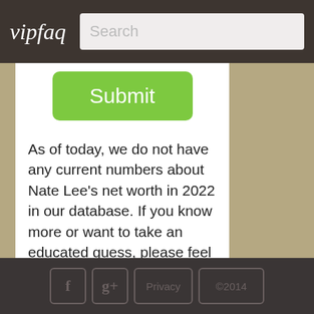vipfaq
[Figure (other): Green Submit button]
As of today, we do not have any current numbers about Nate Lee's net worth in 2022 in our database. If you know more or want to take an educated guess, please feel free to do so above.
f | g+ | Privacy | ©2014